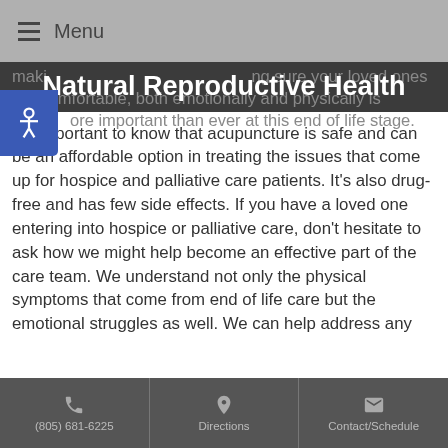Menu
Natural Reproductive Health
making sure your loved ones are comfortable, both emotionally and physically is more important than ever at this end of life stage.
It's important to know that acupuncture is safe and can be an affordable option in treating the issues that come up for hospice and palliative care patients. It's also drug-free and has few side effects. If you have a loved one entering into hospice or palliative care, don't hesitate to ask how we might help become an effective part of the care team. We understand not only the physical symptoms that come from end of life care but the emotional struggles as well. We can help address any
(805) 681-6225 | Directions | Contact/Schedule